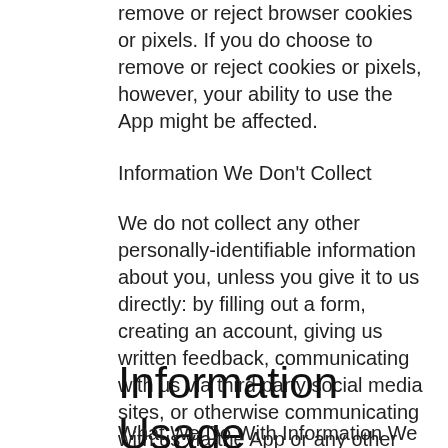remove or reject browser cookies or pixels. If you do choose to remove or reject cookies or pixels, however, your ability to use the App might be affected.
Information We Don't Collect
We do not collect any other personally-identifiable information about you, unless you give it to us directly: by filling out a form, creating an account, giving us written feedback, communicating with us via third party social media sites, or otherwise communicating with us via the App or any other means. We do not collect any payment information from you, other than your Ethereum wallet address.
Information Usage
What We Do With Information We Collect